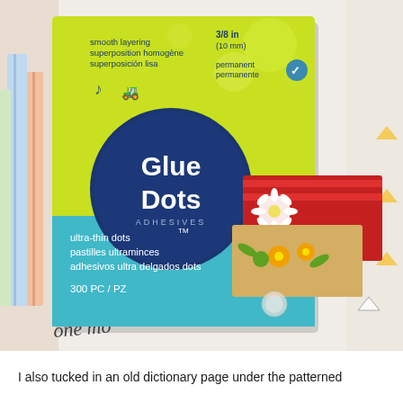[Figure (photo): A box of Glue Dots Adhesives ultra-thin dots, 300 PC/PZ, showing yellow-green packaging with teal bottom section, placed against a colorful illustrated background with pencils and school supplies. The box text includes: smooth layering / superposition homogène / superposición lisa, 3/8 in (10 mm), permanent / permanente, ultra-thin dots, pastilles ultraminces, adhesivos ultra delgados dots, 300 PC / PZ. A crafting example shows layered greeting cards on the box front.]
I also tucked in an old dictionary page under the patterned